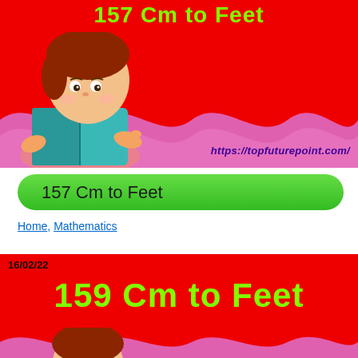[Figure (illustration): Red background card with a cartoon girl reading a teal book, pink wavy area, green text '157 Cm to Feet' as title at top, and URL https://topfuturepoint.com/ in purple italic]
157 Cm to Feet
https://topfuturepoint.com/
157 Cm to Feet
Home, Mathematics
[Figure (illustration): Red background card with date 16/02/22 and large green text '159 Cm to Feet', with wavy pink bottom edge and partial cartoon child figure]
16/02/22
159 Cm to Feet